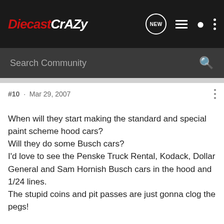DiecastCrazy
Search Community
#10 · Mar 29, 2007
When will they start making the standard and special paint scheme hood cars?
Will they do some Busch cars?
I'd love to see the Penske Truck Rental, Kodack, Dollar General and Sam Hornish Busch cars in the hood and 1/24 lines.
The stupid coins and pit passes are just gonna clog the pegs!

BTW, K-Mart has WC 1/64 on sale for $3.99 each.
Just old stuff though! :rollseyes:
[Figure (photo): Thumbnail avatar image for next post, partially visible at bottom of page]